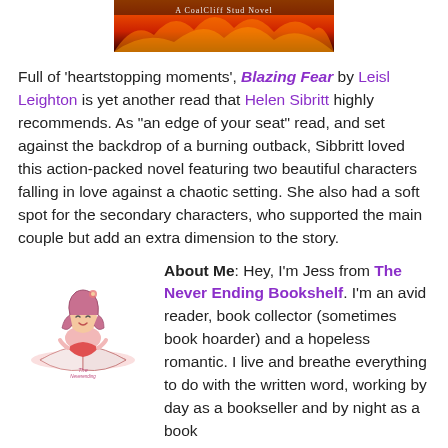[Figure (illustration): Book cover image for 'A CoalCliff Stud Novel' with fire/flames background and text]
Full of 'heartstopping moments', Blazing Fear by Leisl Leighton is yet another read that Helen Sibritt highly recommends. As "an edge of your seat" read, and set against the backdrop of a burning outback, Sibbritt loved this action-packed novel featuring two beautiful characters falling in love against a chaotic setting. She also had a soft spot for the secondary characters, who supported the main couple but add an extra dimension to the story.
[Figure (logo): The Neverending Bookshelf circular logo with illustrated girl reading]
About Me: Hey, I'm Jess from The Never Ending Bookshelf. I'm an avid reader, book collector (sometimes book hoarder) and a hopeless romantic. I live and breathe everything to do with the written word, working by day as a bookseller and by night as a book